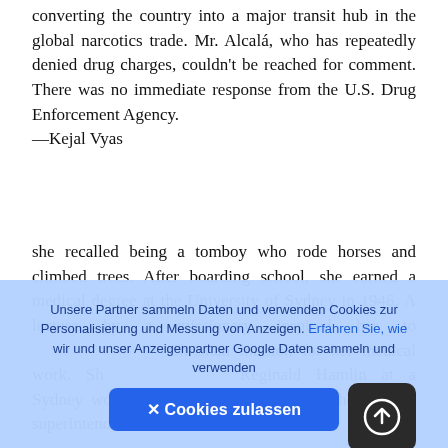converting the country into a major transit hub in the global narcotics trade. Mr. Alcalá, who has repeatedly denied drug charges, couldn't be reached for comment. There was no immediate response from the U.S. Drug Enforcement Agency. —Kejal Vyas
she recalled being a tomboy who rode horses and climbed trees. After boarding school, she earned a medical degree at the University of Sydney in 1946. A lecture by a missionary inspired her to [Christian mission for her medical work. She] Reginald Hamlin at a Sydney women's hospital, where he was the medical superintendent. He was
[Figure (other): A dark rounded square button with a camera/upload icon (circle with up arrow) in white, overlaid on the article text.]
Unsere Partner sammeln Daten und verwenden Cookies zur Personalisierung und Messung von Anzeigen. Erfahren Sie, wie wir und unser Anzeigenpartner Google Daten sammeln und verwenden
✕ Cookies zulassen